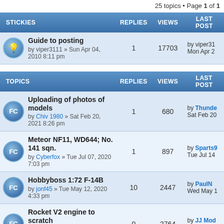25 topics • Page 1 of 1
| STICKIES | REPLIES | VIEWS | LAST POST |
| --- | --- | --- | --- |
| Guide to posting by viper3111 » Sun Apr 04, 2010 8:11 pm | 1 | 17703 | by viper31... Mon Apr 2... |
| TOPICS | REPLIES | VIEWS | LAST POST |
| --- | --- | --- | --- |
| Uploading of photos of models by Chiv 1980 » Sat Feb 20, 2021 8:26 pm | 1 | 680 | by Thunder... Sat Feb 20... |
| Meteor NF11, WD644; No. 141 sqn. by Cyberfox » Tue Jul 07, 2020 7:03 pm | 1 | 897 | by Sparts9... Tue Jul 14... |
| Hobbyboss 1:72 F-14B by jonf45 » Tue May 12, 2020 4:33 pm | 10 | 2447 | by PaulN... Wed May 1... |
| Rocket V2 engine to scratch by JJ Models » Wed Sep 20, 2017 6:01 pm | 0 | 2764 | by JJ Mod... Wed Sep 2... |
| 3 x Tamiya Phantoms!!! | 10 | 5762 | by GhostP... Sun Mar... |